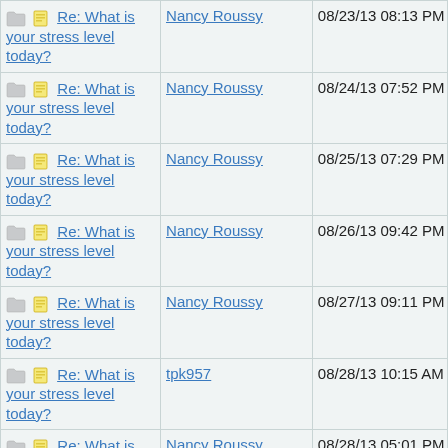| Subject | Author | Date |
| --- | --- | --- |
| Re: What is your stress level today? | Nancy Roussy | 08/23/13 08:13 PM |
| Re: What is your stress level today? | Nancy Roussy | 08/24/13 07:52 PM |
| Re: What is your stress level today? | Nancy Roussy | 08/25/13 07:29 PM |
| Re: What is your stress level today? | Nancy Roussy | 08/26/13 09:42 PM |
| Re: What is your stress level today? | Nancy Roussy | 08/27/13 09:11 PM |
| Re: What is your stress level today? | tpk957 | 08/28/13 10:15 AM |
| Re: What is your stress level today? | Nancy Roussy | 08/28/13 05:01 PM |
| Re: What is your stress level today? | Nancy Roussy | 08/28/13 10:53 PM |